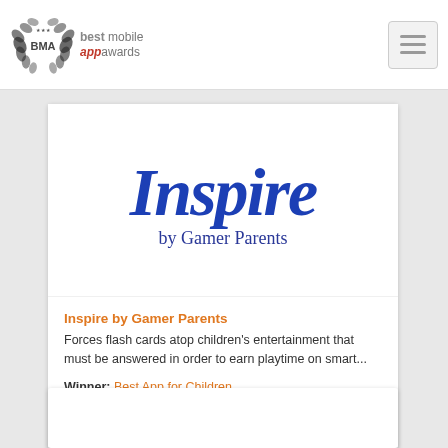best mobile app awards
[Figure (logo): Best Mobile App Awards logo with laurel wreath badge and text 'best mobile app awards']
[Figure (illustration): App logo showing 'Inspire by Gamer Parents' in large blue italic text on white background]
Inspire by Gamer Parents
Forces flash cards atop children's entertainment that must be answered in order to earn playtime on smart...
Winner: Best App for Children
Categories: education, entertainment, family & children, productivity, tools and utilities
View App
3460